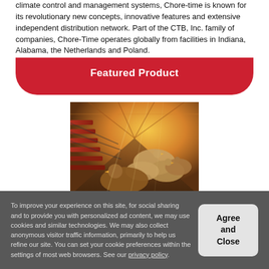climate control and management systems, Chore-time is known for its revolutionary new concepts, innovative features and extensive independent distribution network. Part of the CTB, Inc. family of companies, Chore-Time operates globally from facilities in Indiana, Alabama, the Netherlands and Poland.
Featured Product
[Figure (photo): Interior of a poultry house showing chickens on feeding/watering equipment lines with warm golden lighting]
To improve your experience on this site, for social sharing and to provide you with personalized ad content, we may use cookies and similar technologies. We may also collect anonymous visitor traffic information, primarily to help us refine our site. You can set your cookie preferences within the settings of most web browsers. See our privacy policy.